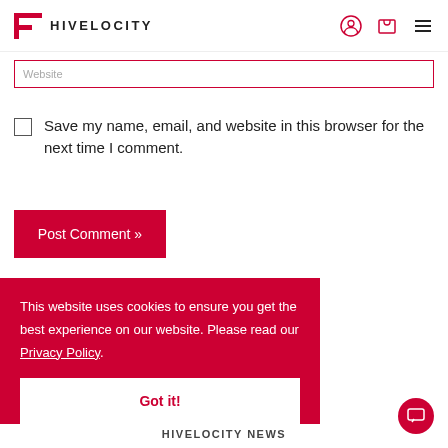HIVELOCITY
Website
Save my name, email, and website in this browser for the next time I comment.
Post Comment »
This website uses cookies to ensure you get the best experience on our website. Please read our Privacy Policy.
Got it!
HIVELOCITY NEWS